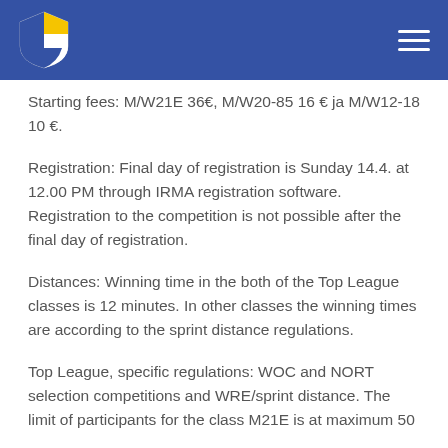Navigation header with club logo and hamburger menu
Starting fees: M/W21E 36€, M/W20-85 16 € ja M/W12-18 10 €.
Registration: Final day of registration is Sunday 14.4. at 12.00 PM through IRMA registration software. Registration to the competition is not possible after the final day of registration.
Distances: Winning time in the both of the Top League classes is 12 minutes. In other classes the winning times are according to the sprint distance regulations.
Top League, specific regulations: WOC and NORT selection competitions and WRE/sprint distance. The limit of participants for the class M21E is at maximum 50